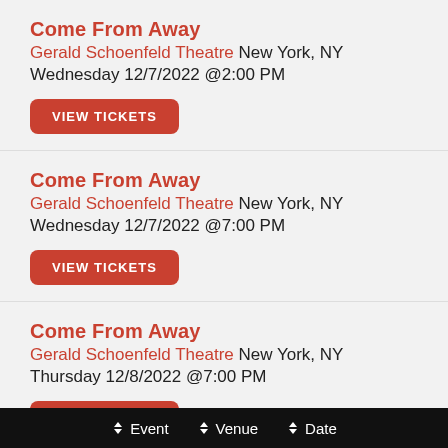Come From Away
Gerald Schoenfeld Theatre New York, NY
Wednesday 12/7/2022 @2:00 PM
VIEW TICKETS
Come From Away
Gerald Schoenfeld Theatre New York, NY
Wednesday 12/7/2022 @7:00 PM
VIEW TICKETS
Come From Away
Gerald Schoenfeld Theatre New York, NY
Thursday 12/8/2022 @7:00 PM
VIEW TICKETS
◆ Event   ◆ Venue   ◆ Date